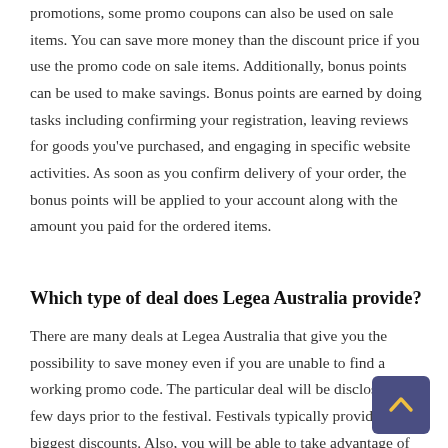promotions, some promo coupons can also be used on sale items. You can save more money than the discount price if you use the promo code on sale items. Additionally, bonus points can be used to make savings. Bonus points are earned by doing tasks including confirming your registration, leaving reviews for goods you've purchased, and engaging in specific website activities. As soon as you confirm delivery of your order, the bonus points will be applied to your account along with the amount you paid for the ordered items.
Which type of deal does Legea Australia provide?
There are many deals at Legea Australia that give you the possibility to save money even if you are unable to find a working promo code. The particular deal will be disclosed a few days prior to the festival. Festivals typically provide the biggest discounts. Also, you will be able to take advantage of seasonal specials to acquire the greatest